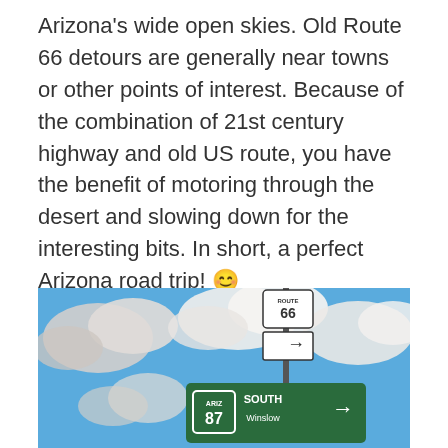Arizona's wide open skies. Old Route 66 detours are generally near towns or other points of interest. Because of the combination of 21st century highway and old US route, you have the benefit of motoring through the desert and slowing down for the interesting bits. In short, a perfect Arizona road trip! 😊
[Figure (photo): Photo of Route 66 and Highway 87 South Winslow road signs against a bright blue sky with white puffy clouds.]